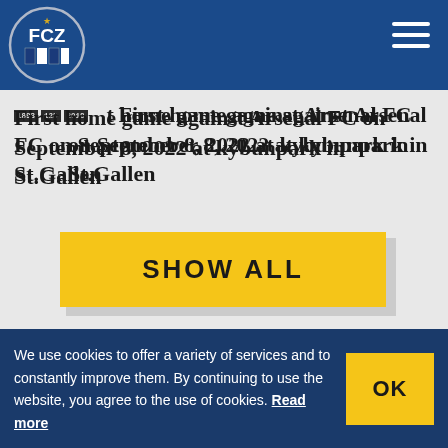FCZ FC Zürich website header with logo and navigation
First home game against Arsenal FC on September 8, 2022 at kybunpark in St.Gallen
SHOW ALL
MAIN PARTNER
PREMIUM PARTNER
We use cookies to offer a variety of services and to constantly improve them. By continuing to use the website, you agree to the use of cookies. Read more
OK